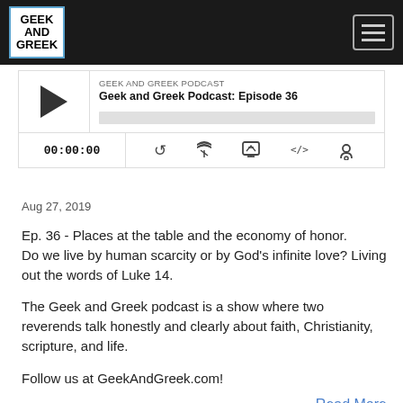[Figure (logo): Geek and Greek podcast logo in top-left of black navbar, white box with blue border and comic-style text]
[Figure (screenshot): Podcast audio player widget showing episode info and playback controls]
Aug 27, 2019
Ep. 36 - Places at the table and the economy of honor. Do we live by human scarcity or by God's infinite love? Living out the words of Luke 14.
The Geek and Greek podcast is a show where two reverends talk honestly and clearly about faith, Christianity, scripture, and life.
Follow us at GeekAndGreek.com!
Read More